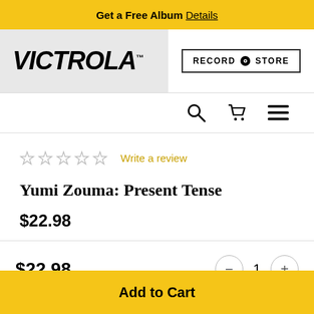Get a Free Album Details
[Figure (logo): Victrola logo on grey background]
[Figure (other): Record Store button with record icon]
[Figure (other): Navigation icons: search, cart, menu]
☆☆☆☆☆ Write a review
Yumi Zouma: Present Tense
$22.98
$22.98  −  1  +
Add to Cart